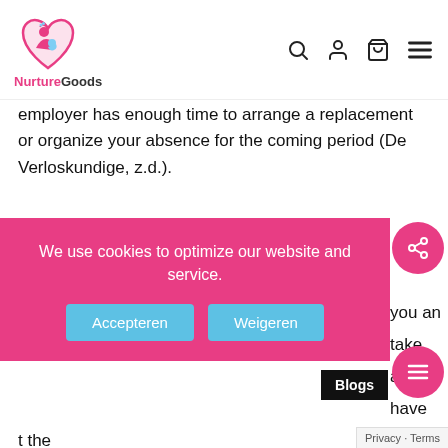[Figure (logo): NurtureGoods logo: heart shape with mother and baby illustration in pink, with text 'NurtureGoods' below]
employer has enough time to arrange a replacement or organize your absence for the coming period (De Verloskundige, z.d.).
Rights at work
During and after pregnancy, your employer is obligated to protect the health of you and your baby. This means your employer cannot take away certain rights. You, for example, have to be allowed to breastfeed at work and have the right to maternity leave to ensure that the
We use cookies to optimize our website and service.
Accepteren
Weigeren